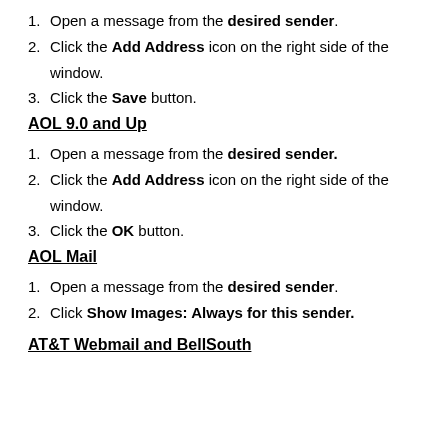1. Open a message from the desired sender.
2. Click the Add Address icon on the right side of the window.
3. Click the Save button.
AOL 9.0 and Up
1. Open a message from the desired sender.
2. Click the Add Address icon on the right side of the window.
3. Click the OK button.
AOL Mail
1. Open a message from the desired sender.
2. Click Show Images: Always for this sender.
AT&T Webmail and BellSouth